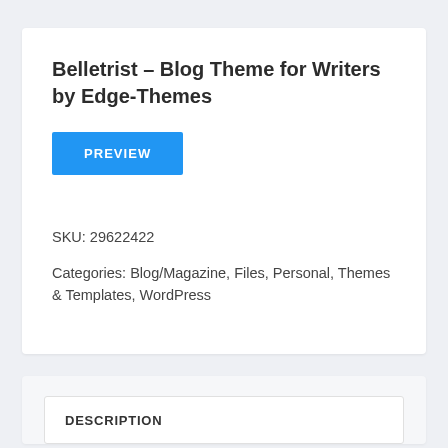Belletrist – Blog Theme for Writers by Edge-Themes
[Figure (other): Blue PREVIEW button]
SKU: 29622422
Categories: Blog/Magazine, Files, Personal, Themes & Templates, WordPress
DESCRIPTION